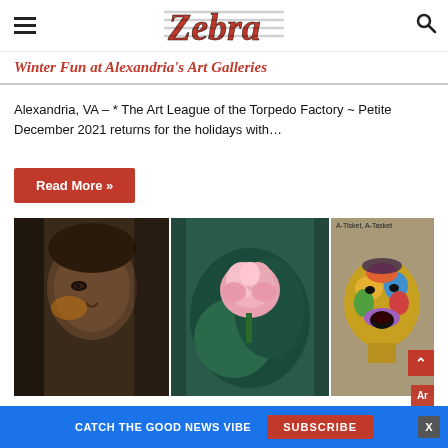Zebra (logo) — navigation header with hamburger menu and search icon
Winter Fun at Alexandria's Art Galleries
Alexandria, VA – * The Art League of the Torpedo Factory ~ Petite December 2021 returns for the holidays with…
Read More »
[Figure (photo): Three art images side by side: a dark painterly portrait on the left, a painting of a pink flower/peony in the center, and a colorful expressionist portrait of a singing person on the right labeled 'A-Tisket, A-Tasket']
CATCH THE GOOD NEWS VIBE   SUBSCRIBE